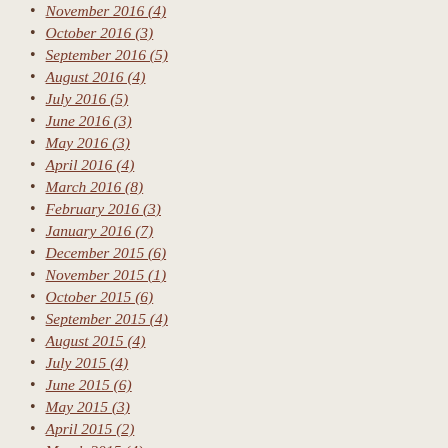November 2016 (4)
October 2016 (3)
September 2016 (5)
August 2016 (4)
July 2016 (5)
June 2016 (3)
May 2016 (3)
April 2016 (4)
March 2016 (8)
February 2016 (3)
January 2016 (7)
December 2015 (6)
November 2015 (1)
October 2015 (6)
September 2015 (4)
August 2015 (4)
July 2015 (4)
June 2015 (6)
May 2015 (3)
April 2015 (2)
March 2015 (4)
February 2015 (4)
January 2015 (3)
December 2014 (4)
November 2014 (4)